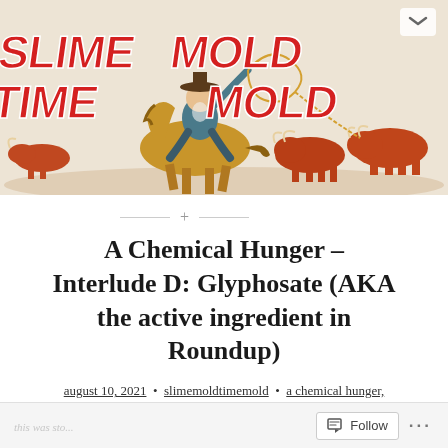[Figure (illustration): Blog banner image with retro western rodeo illustration. Red and white 'SLIME MOLD TIME MOLD' text overlaid on a painting of a cowboy on horseback lassoing cattle, rendered in red-brown tones on a cream background.]
A Chemical Hunger – Interlude D: Glyphosate (AKA the active ingredient in Roundup)
august 10, 2021 • slimemoldtimemold • a chemical hunger, obesity